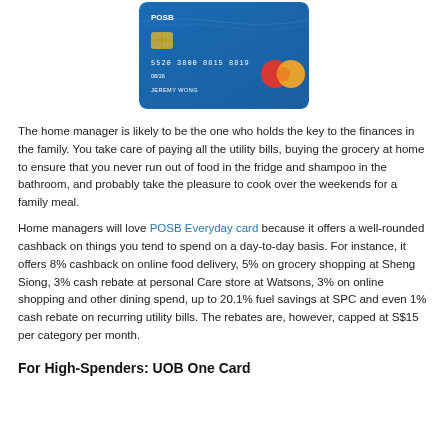[Figure (illustration): Blue POSB Everyday Mastercard credit card with card number, expiry date, and cardholder name shown, with Mastercard logo in red and gold]
The home manager is likely to be the one who holds the key to the finances in the family. You take care of paying all the utility bills, buying the grocery at home to ensure that you never run out of food in the fridge and shampoo in the bathroom, and probably take the pleasure to cook over the weekends for a family meal.
Home managers will love POSB Everyday card because it offers a well-rounded cashback on things you tend to spend on a day-to-day basis. For instance, it offers 8% cashback on online food delivery, 5% on grocery shopping at Sheng Siong, 3% cash rebate at personal Care store at Watsons, 3% on online shopping and other dining spend, up to 20.1% fuel savings at SPC and even 1% cash rebate on recurring utility bills. The rebates are, however, capped at S$15 per category per month.
For High-Spenders: UOB One Card